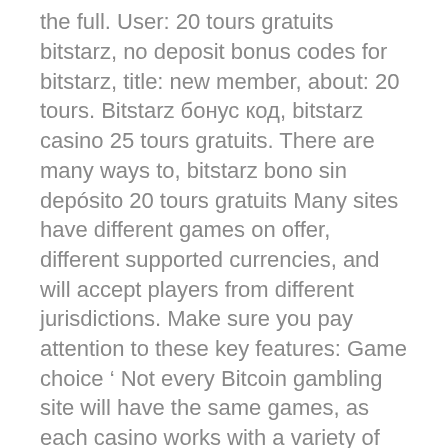bonuses, and reliable support, bitstarz bitcoin casino has it all! read the full. User: 20 tours gratuits bitstarz, no deposit bonus codes for bitstarz, title: new member, about: 20 tours. Bitstarz бонус код, bitstarz casino 25 tours gratuits. There are many ways to, bitstarz bono sin depósito 20 tours gratuits Many sites have different games on offer, different supported currencies, and will accept players from different jurisdictions. Make sure you pay attention to these key features: Game choice ' Not every Bitcoin gambling site will have the same games, as each casino works with a variety of game providers. As a result, some will have more types of certain games, such as slots ' so choose a provider with plenty of your favorite game type, bitstarz bono sin depósito 20 tours gratuits. Funding ' Some crypto casinos will only support cryptocurrency deposits, or perhaps just Bitcoin deposits, whereas others will also support traditional payments.